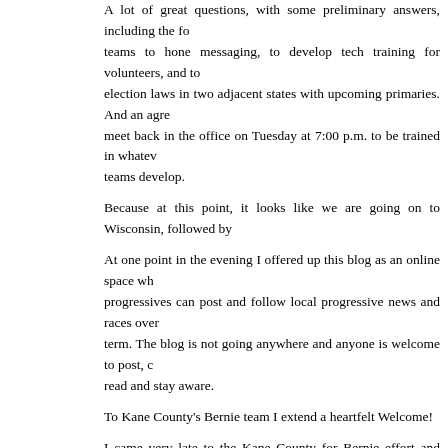A lot of great questions, with some preliminary answers, including the formation of teams to hone messaging, to develop tech training for volunteers, and to compare election laws in two adjacent states with upcoming primaries. And an agreement to meet back in the office on Tuesday at 7:00 p.m. to be trained in whatever the teams develop.
Because at this point, it looks like we are going on to Wisconsin, followed by
At one point in the evening I offered up this blog as an online space where progressives can post and follow local progressive news and races over the next term. The blog is not going anywhere and anyone is welcome to post, comment, read and stay aware.
To Kane County's Bernie team I extend a heartfelt Welcome!
I came very late to the Kane County for Bernie effort and wish I had put in as much the effort that so many of you in that room last night have given. You are the future of progressive causes and elections in Kane County, and you give me great hope for that future.
You can respond to the event invite for Monday's Tuesday's event here.
You can donate to Bernie here.
You can volunteer here.
[Figure (other): Share/Save social sharing button with Facebook, Twitter, and share icons]
Tags: #2016 Democratic Primary, Bernie Sanders, Kane County